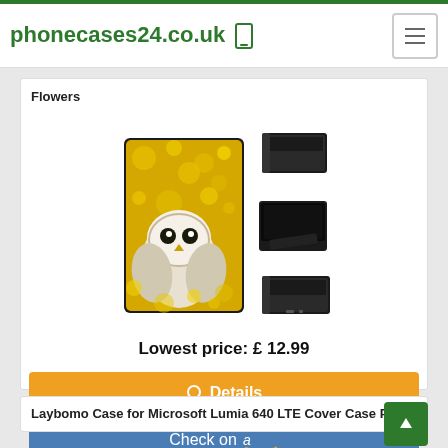phonecases24.co.uk
Flowers
[Figure (photo): Phone case product showing a barn owl with yellow flowers on a wallet-style flip case, along with three views of the black case closed, as a stand, and folded]
Lowest price: £ 12.99
Details
Check on (amazon logo)
Laybomo Case for Microsoft Lumia 640 LTE Cover Case PU